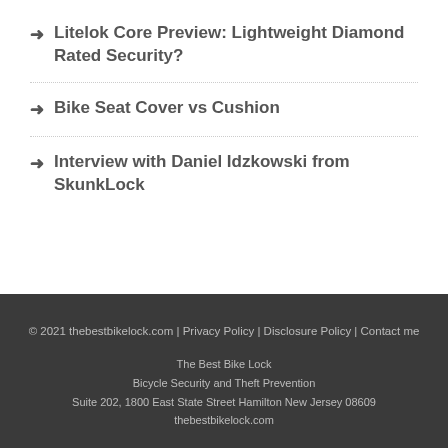Litelok Core Preview: Lightweight Diamond Rated Security?
Bike Seat Cover vs Cushion
Interview with Daniel Idzkowski from SkunkLock
© 2021 thebestbikelock.com | Privacy Policy | Disclosure Policy | Contact me
The Best Bike Lock
Bicycle Security and Theft Prevention
Suite 202, 1800 East State Street Hamilton New Jersey 08609
thebestbikelock.com